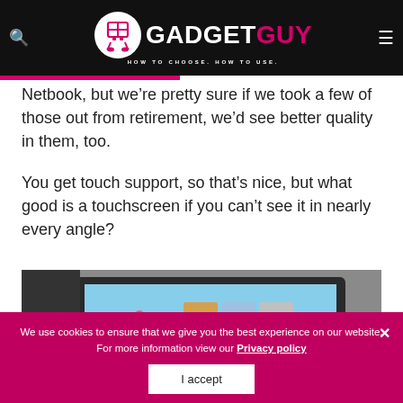GADGET GUY — HOW TO CHOOSE. HOW TO USE.
Netbook, but we're pretty sure if we took a few of those out from retirement, we'd see better quality in them, too.
You get touch support, so that's nice, but what good is a touchscreen if you can't see it in nearly every angle?
[Figure (photo): A person touching a touchscreen laptop/tablet with Windows tiles visible on screen]
We use cookies to ensure that we give you the best experience on our website. For more information view our Privacy policy